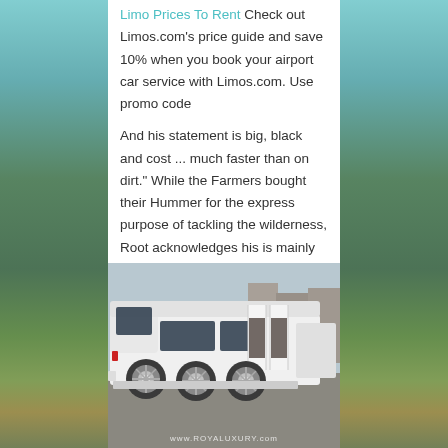Limo Prices To Rent Check out Limos.com's price guide and save 10% when you book your airport car service with Limos.com. Use promo code
And his statement is big, black and cost ... much faster than on dirt." While the Farmers bought their Hummer for the express purpose of tackling the wilderness, Root acknowledges his is mainly for ci...
[Figure (photo): A white stretch Hummer limousine with its doors open, parked on a street. Multiple large chrome wheels visible. Watermark reads www.ROYALUXURY.com]